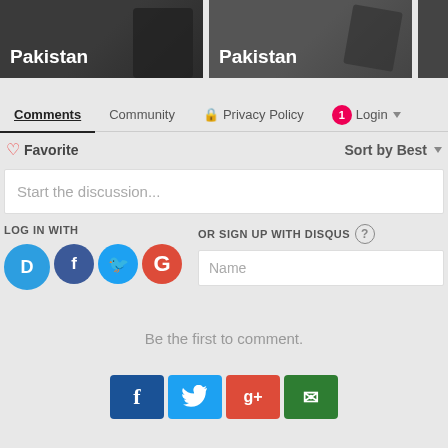[Figure (screenshot): Two thumbnail images labeled Pakistan with dark background, partially cropped]
Comments | Community | Privacy Policy | Login
Favorite | Sort by Best
Start the discussion...
LOG IN WITH
OR SIGN UP WITH DISQUS
Name
Be the first to comment.
[Figure (screenshot): Social share buttons: Facebook, Twitter, Google+, Email]